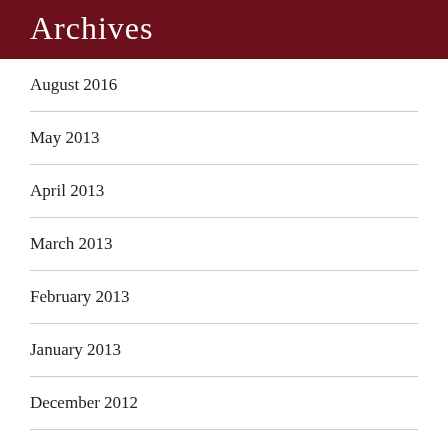Archives
August 2016
May 2013
April 2013
March 2013
February 2013
January 2013
December 2012